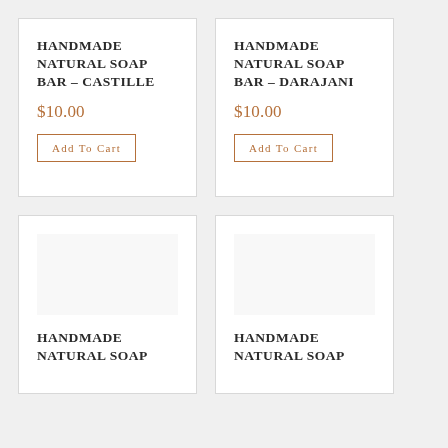HANDMADE NATURAL SOAP BAR – CASTILLE
$10.00
Add To Cart
HANDMADE NATURAL SOAP BAR – DARAJANI
$10.00
Add To Cart
[Figure (photo): Product image placeholder for handmade natural soap bar]
HANDMADE NATURAL SOAP
[Figure (photo): Product image placeholder for handmade natural soap bar]
HANDMADE NATURAL SOAP